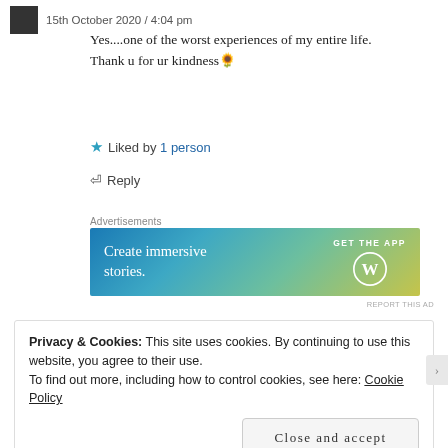15th October 2020 / 4:04 pm
Yes....one of the worst experiences of my entire life. Thank u for ur kindness 🌻
★ Liked by 1 person
↩ Reply
Advertisements
[Figure (infographic): WordPress advertisement banner with gradient background (blue to yellow-green). Text: 'Create immersive stories.' and 'GET THE APP' with WordPress logo.]
REPORT THIS AD
Privacy & Cookies: This site uses cookies. By continuing to use this website, you agree to their use.
To find out more, including how to control cookies, see here: Cookie Policy
Close and accept